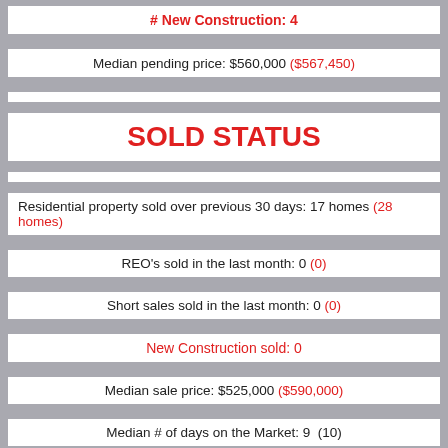# New Construction: 4
Median pending price: $560,000 ($567,450)
SOLD STATUS
Residential property sold over previous 30 days: 17 homes (28 homes)
REO's sold in the last month: 0 (0)
Short sales sold in the last month: 0 (0)
New Construction sold: 0
Median sale price: $525,000 ($590,000)
Median # of days on the Market: 9  (10)
**************************